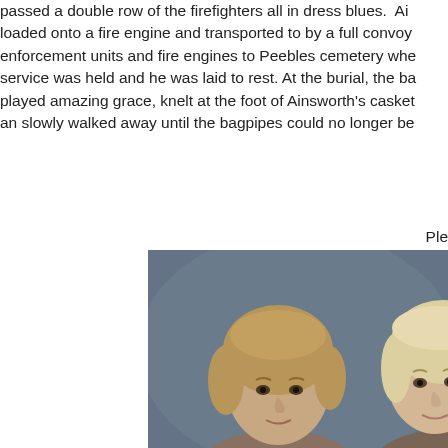passed a double row of the firefighters all in dress blues. Ai loaded onto a fire engine and transported to by a full convoy enforcement units and fire engines to Peebles cemetery whe service was held and he was laid to rest. At the burial, the ba played amazing grace, knelt at the foot of Ainsworth's casket an slowly walked away until the bagpipes could no longer be
Ple
[Figure (photo): Portrait photo of two women with blonde/light hair against a dark blue-gray background. One woman is centered and the other is partially visible on the right edge of the frame.]